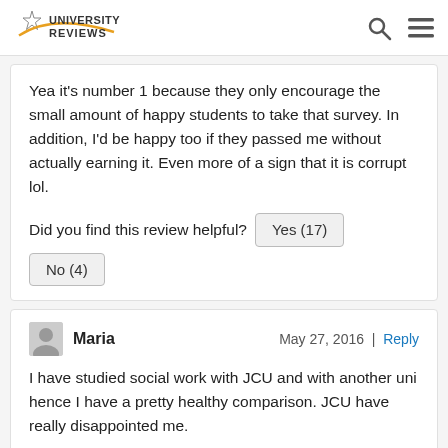University Reviews
Yea it's number 1 because they only encourage the small amount of happy students to take that survey. In addition, I'd be happy too if they passed me without actually earning it. Even more of a sign that it is corrupt lol.
Did you find this review helpful?   Yes (17)   No (4)
Maria   May 27, 2016 | Reply
I have studied social work with JCU and with another uni hence I have a pretty healthy comparison. JCU have really disappointed me.
First, the enrolment they refuse to small...